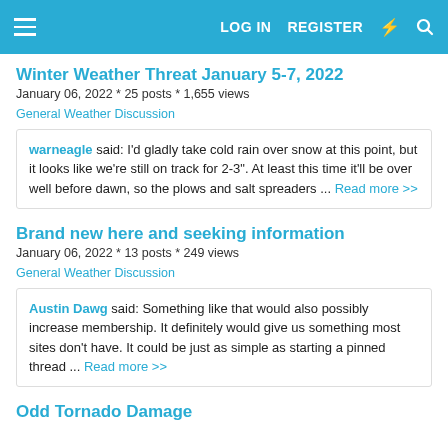LOG IN   REGISTER
Winter Weather Threat January 5-7, 2022
January 06, 2022 * 25 posts * 1,655 views
General Weather Discussion
warneagle said: I'd gladly take cold rain over snow at this point, but it looks like we're still on track for 2-3". At least this time it'll be over well before dawn, so the plows and salt spreaders ... Read more >>
Brand new here and seeking information
January 06, 2022 * 13 posts * 249 views
General Weather Discussion
Austin Dawg said: Something like that would also possibly increase membership. It definitely would give us something most sites don't have. It could be just as simple as starting a pinned thread ... Read more >>
Odd Tornado Damage